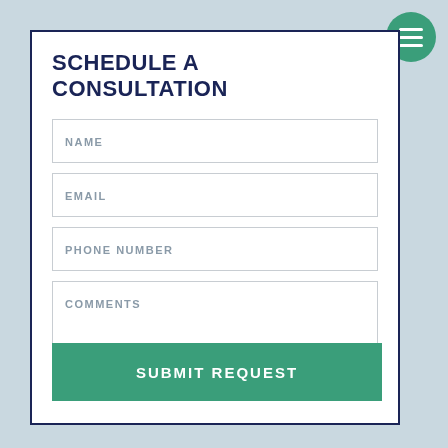SCHEDULE A CONSULTATION
NAME
EMAIL
PHONE NUMBER
COMMENTS
SUBMIT REQUEST